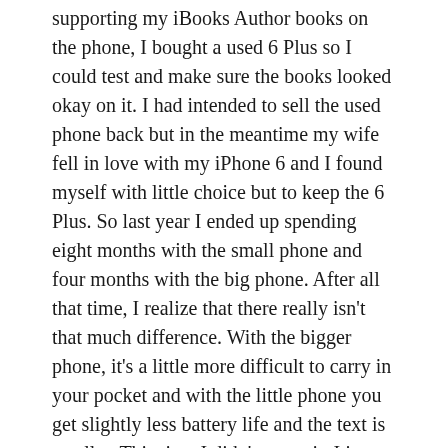supporting my iBooks Author books on the phone, I bought a used 6 Plus so I could test and make sure the books looked okay on it. I had intended to sell the used phone back but in the meantime my wife fell in love with my iPhone 6 and I found myself with little choice but to keep the 6 Plus. So last year I ended up spending eight months with the small phone and four months with the big phone. After all that time, I realize that there really isn't that much difference. With the bigger phone, it's a little more difficult to carry in your pocket and with the little phone you get slightly less battery life and the text is smaller. This time I didn't sweat it. I just ordered the big one.
BUYING OPTIONS
The new variable in the mix this year is exactly how you